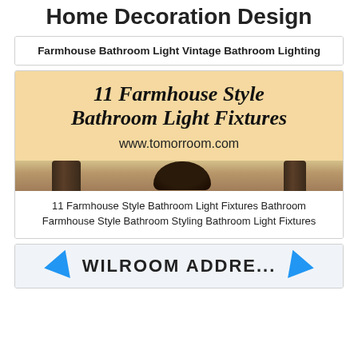Home Decoration Design
Farmhouse Bathroom Light Vintage Bathroom Lighting
[Figure (illustration): Promotional image for '11 Farmhouse Style Bathroom Light Fixtures' on a tan/peach background with decorative serif text, showing www.tomorroom.com and a bottom strip with dark lamp fixtures.]
11 Farmhouse Style Bathroom Light Fixtures Bathroom Farmhouse Style Bathroom Styling Bathroom Light Fixtures
[Figure (illustration): Partial bottom card showing blue arrow chevrons and partial bold text, cropped at bottom of page.]